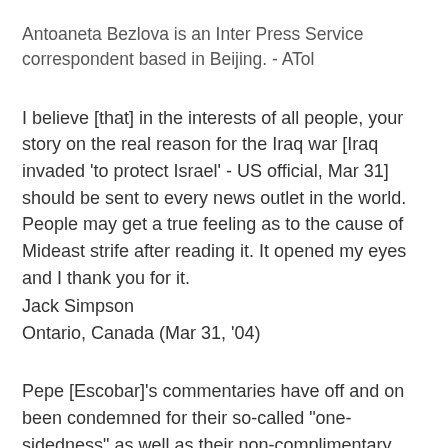Antoaneta Bezlova is an Inter Press Service correspondent based in Beijing. - ATol
I believe [that] in the interests of all people, your story on the real reason for the Iraq war [Iraq invaded 'to protect Israel' - US official, Mar 31] should be sent to every news outlet in the world. People may get a true feeling as to the cause of Mideast strife after reading it. It opened my eyes and I thank you for it.
Jack Simpson
Ontario, Canada (Mar 31, '04)
Pepe [Escobar]'s commentaries have off and on been condemned for their so-called "one-sidedness" as well as their non-complimentary [interpretations of the realities of] US/Israel views [Roadmap to hell, Mar 27]. A retired captain in Apple Valley, California, writes in part [Mar 29], "every Palestinian family that is willing to work and earn a real house instead of a tent ... [should be able to do so]". And an